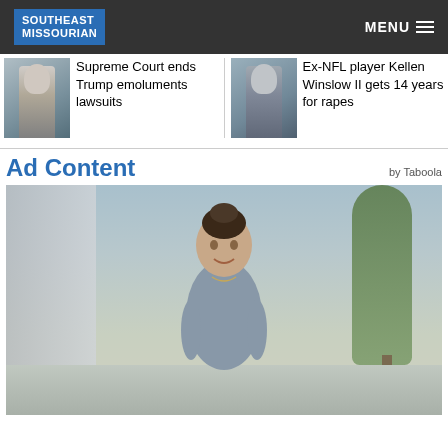Southeast Missourian | MENU
Supreme Court ends Trump emoluments lawsuits
Ex-NFL player Kellen Winslow II gets 14 years for rapes
Ad Content
by Taboola
[Figure (photo): Woman smiling outdoors in front of city street and trees, wearing a gray top]